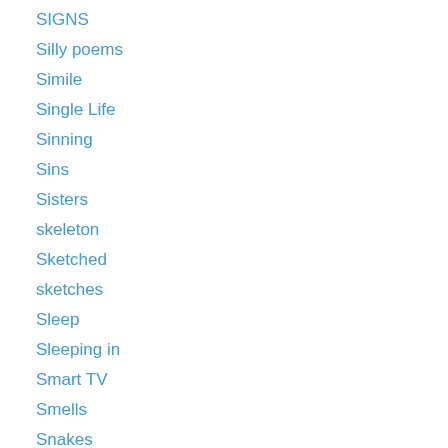SIGNS
Silly poems
Simile
Single Life
Sinning
Sins
Sisters
skeleton
Sketched
sketches
Sleep
Sleeping in
Smart TV
Smells
Snakes
Soccer
Social Media
social networking
Socks
Solstice